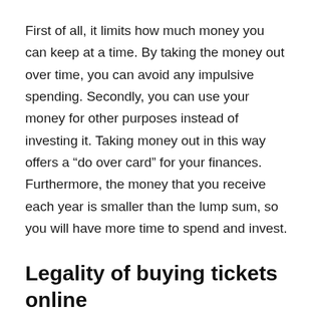First of all, it limits how much money you can keep at a time. By taking the money out over time, you can avoid any impulsive spending. Secondly, you can use your money for other purposes instead of investing it. Taking money out in this way offers a “do over card” for your finances. Furthermore, the money that you receive each year is smaller than the lump sum, so you will have more time to spend and invest.
Legality of buying tickets online